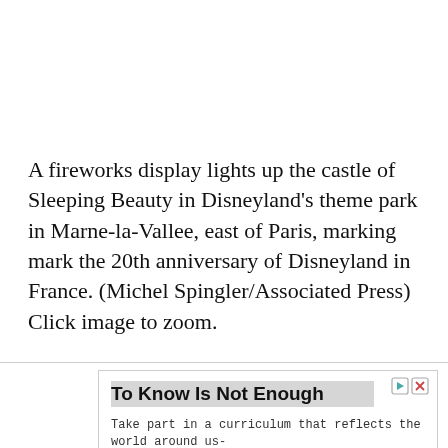A fireworks display lights up the castle of Sleeping Beauty in Disneyland's theme park in Marne-la-Vallee, east of Paris, marking mark the 20th anniversary of Disneyland in France. (Michel Spingler/Associated Press) Click image to zoom.
[Figure (other): Advertisement banner: 'To Know Is Not Enough' — Hampshire College. Text: Take part in a curriculum that reflects the world around us- always evolving. Button: Learn More.]